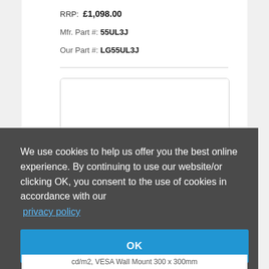RRP: £1,098.00
Mfr. Part #: 55UL3J
Our Part #: LG55UL3J
[Figure (photo): Product image of an LG TV monitor, shown partially behind a cookie consent overlay banner]
We use cookies to help us offer you the best online experience. By continuing to use our website/or clicking OK, you consent to the use of cookies in accordance with our privacy policy
OK
cd/m2, VESA Wall Mount 300 x 300mm